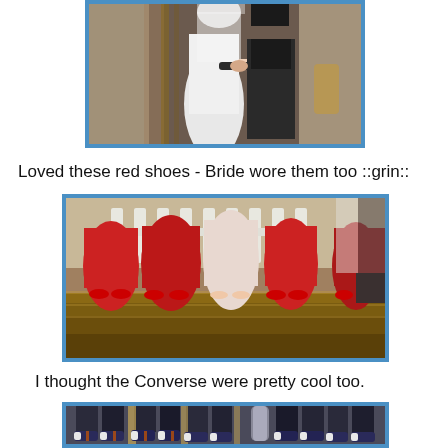[Figure (photo): Wedding couple holding hands at the altar, partial view showing lower bodies, bride in white dress, groom in dark suit, decorative fabric in background]
Loved these red shoes - Bride wore them too ::grin::
[Figure (photo): Bridesmaids in red dresses wearing red high heel shoes on church steps, bride in pink/white dress with bare feet, standing on carpeted steps]
I thought the Converse were pretty cool too.
[Figure (photo): Groomsmen in dark suits wearing Converse sneakers, visible from knees down, standing at the altar with decorative wooden elements]